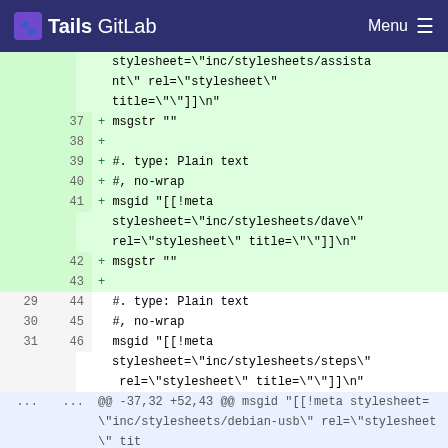Tails GitLab   Menu
[Figure (screenshot): GitLab diff view showing added lines (green) and unchanged lines (white) with line numbers, for a .po file containing msgid entries with stylesheet meta directives. Lines 37-43 are additions (green), lines 29-31 and 44-46 are unchanged, followed by a @@ diff hunk header.]